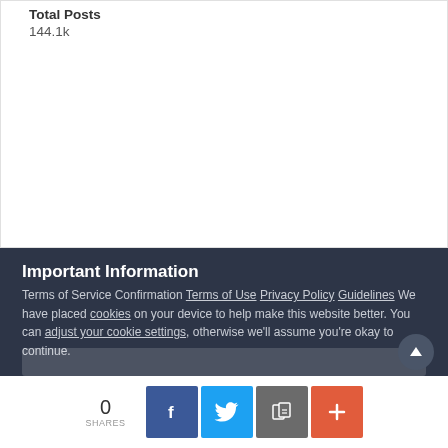Total Posts
144.1k
Important Information
Terms of Service Confirmation Terms of Use Privacy Policy Guidelines We have placed cookies on your device to help make this website better. You can adjust your cookie settings, otherwise we'll assume you're okay to continue.
0 SHARES